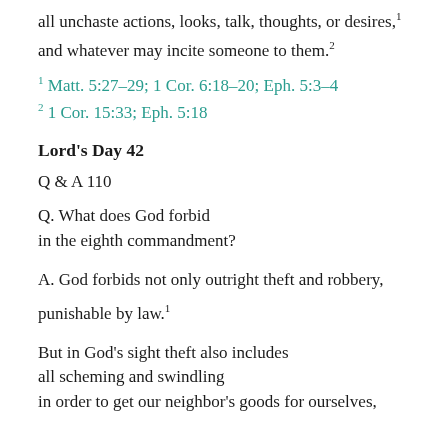all unchaste actions, looks, talk, thoughts, or desires,¹
and whatever may incite someone to them.²
¹ Matt. 5:27-29; 1 Cor. 6:18-20; Eph. 5:3-4
² 1 Cor. 15:33; Eph. 5:18
Lord's Day 42
Q & A 110
Q. What does God forbid in the eighth commandment?
A. God forbids not only outright theft and robbery,
punishable by law.¹
But in God's sight theft also includes all scheming and swindling in order to get our neighbor's goods for ourselves,